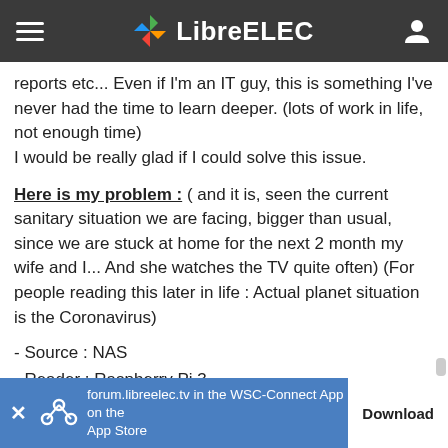LibreELEC
reports etc... Even if I'm an IT guy, this is something I've never had the time to learn deeper. (lots of work in life, not enough time)
I would be really glad if I could solve this issue.
Here is my problem : ( and it is, seen the current sanitary situation we are facing, bigger than usual, since we are stuck at home for the next 2 month my wife and I... And she watches the TV quite often) (For people reading this later in life : Actual planet situation is the Coronavirus)
- Source : NAS
- Reader : Raspberry Pi 3
- Path : 1 Ethernet Cable from NAS to Switch -> 1 Ethernet Cable (50 meters) from Switch to Raspberry Pi 3 (directly plugged in)
forum.libreelec.tv in the WSC-Connect App on the App Store  [Download]